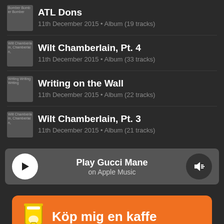ATL Dons
11th December 2015 • Album (19 tracks)
Wilt Chamberlain, Pt. 4
11th December 2015 • Album (33 tracks)
Writing on the Wall
11th December 2015 • Album (22 tracks)
Wilt Chamberlain, Pt. 3
11th December 2015 • Album (21 tracks)
[Figure (screenshot): Play Gucci Mane on Apple Music player bar with play button and volume button]
Köp mig en kaffe